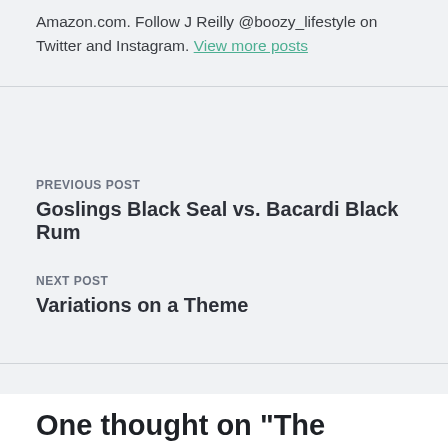Amazon.com. Follow J Reilly @boozy_lifestyle on Twitter and Instagram. View more posts
PREVIOUS POST
Goslings Black Seal vs. Bacardi Black Rum
NEXT POST
Variations on a Theme
One thought on “The Roving